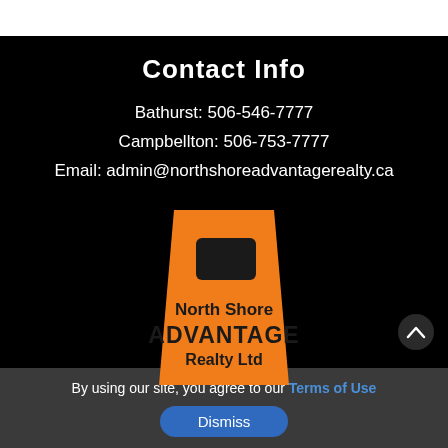Contact Info
Bathurst: 506-546-7777
Campbellton: 506-753-7777
Email: admin@northshoreadvantagerealty.ca
[Figure (logo): North Shore Advantage Realty Ltd orange trapezoid logo with black window shape and bold text]
By using our site, you agree to our Terms of Use
Dismiss